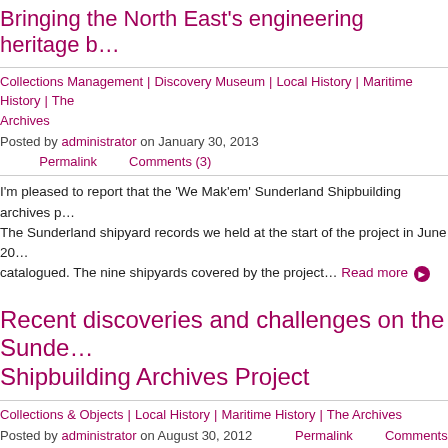Bringing the North East's engineering heritage b…
Collections Management | Discovery Museum | Local History | Maritime History | The Archives
Posted by administrator on January 30, 2013   Permalink   Comments (3)
I'm pleased to report that the 'We Mak'em' Sunderland Shipbuilding archives p… The Sunderland shipyard records we held at the start of the project in June 20… catalogued. The nine shipyards covered by the project… Read more ▶
Recent discoveries and challenges on the Sunderland Shipbuilding Archives Project
Collections & Objects | Local History | Maritime History | The Archives
Posted by administrator on August 30, 2012   Permalink   Comments (38)
For the past month I've been busy cataloguing the ships photographs of sever… shipyards, including those for Sir James Laing & Sons Ltd and J.L. Thompson… are thousands of fantastic images of ships launches and… Read more ▶